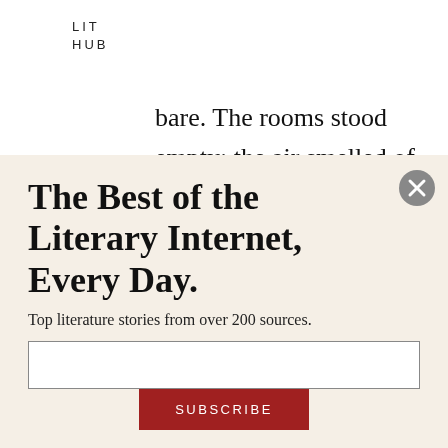LIT
HUB
bare. The rooms stood empty: the air smelled of rot, and any light you lit in the house went out almost at once.

One day early in the morning I came out into the sun. Ma and I were
The Best of the Literary Internet, Every Day.
Top literature stories from over 200 sources.
SUBSCRIBE